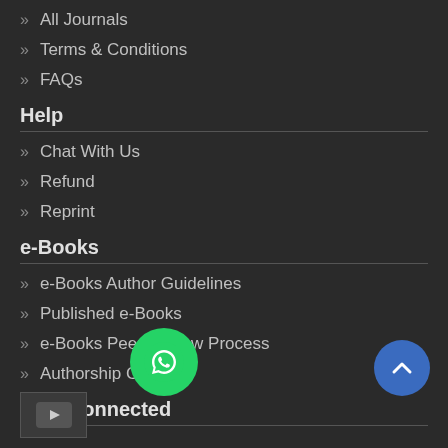All Journals
Terms & Conditions
FAQs
Help
Chat With Us
Refund
Reprint
e-Books
e-Books Author Guidelines
Published e-Books
e-Books Peer Review Process
Authorship Criteria
Stay Connected
[Figure (logo): WhatsApp green circular button]
[Figure (logo): Scroll to top blue circular button with upward chevron]
[Figure (logo): YouTube icon box]